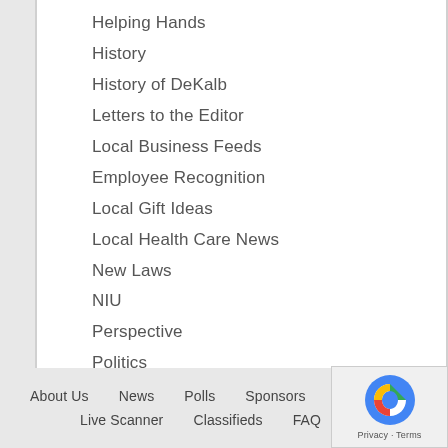Helping Hands
History
History of DeKalb
Letters to the Editor
Local Business Feeds
Employee Recognition
Local Gift Ideas
Local Health Care News
New Laws
NIU
Perspective
Politics
Potpourri
Press Release
Rants and Raves
About Us   News   Polls   Sponsors   Events   Dire...   Live Scanner   Classifieds   FAQ   Contact